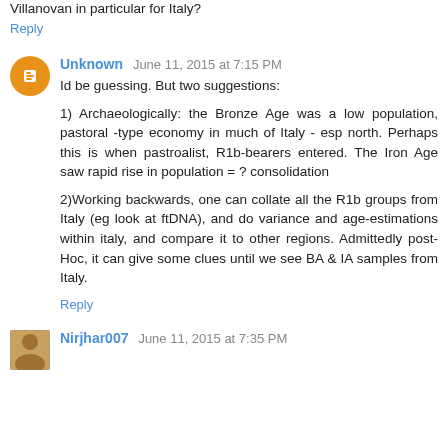Villanovan in particular for Italy?
Reply
Unknown  June 11, 2015 at 7:15 PM
Id be guessing. But two suggestions:

1) Archaeologically: the Bronze Age was a low population, pastoral -type economy in much of Italy - esp north. Perhaps this is when pastroalist, R1b-bearers entered. The Iron Age saw rapid rise in population = ? consolidation

2)Working backwards, one can collate all the R1b groups from Italy (eg look at ftDNA), and do variance and age-estimations within italy, and compare it to other regions. Admittedly post-Hoc, it can give some clues until we see BA & IA samples from Italy.
Reply
Nirjhar007  June 11, 2015 at 7:35 PM